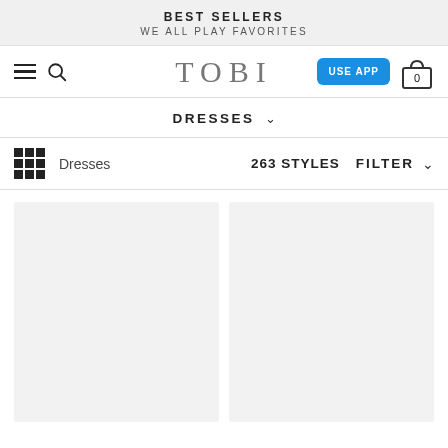BEST SELLERS
WE ALL PLAY FAVORITES
[Figure (screenshot): TOBI website navigation bar with hamburger menu, search icon, TOBI logo, USE APP button, and cart icon showing 0 items]
DRESSES ∨
Dresses    263 STYLES    FILTER ∨
[Figure (photo): Two empty product card placeholders (light gray) for dress listings on the Tobi.com website]